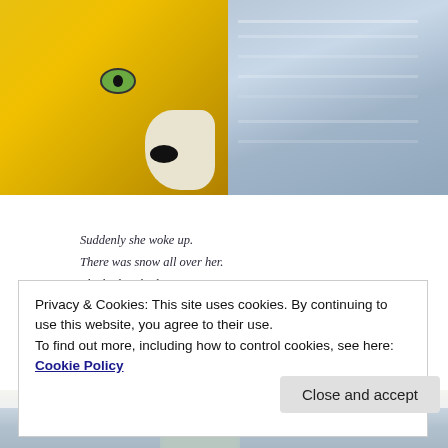[Figure (illustration): Close-up illustration of a fox face with yellow-orange fur and green eye on the left, snowy blue-grey landscape on the right]
[Figure (illustration): Snowy blue-grey illustrated landscape with story text overlaid]
Suddenly she woke up.
There was snow all over her.
The binbag had gone.
Had Mr Thomas taken it away?
Privacy & Cookies: This site uses cookies. By continuing to use this website, you agree to their use.
To find out more, including how to control cookies, see here:
Cookie Policy
Close and accept
[Figure (illustration): Bottom portion of snowy illustrated scene with animal figure]